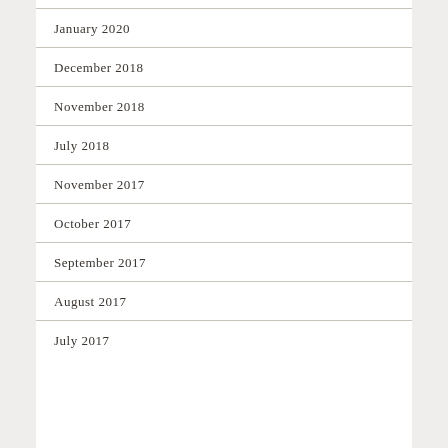January 2020
December 2018
November 2018
July 2018
November 2017
October 2017
September 2017
August 2017
July 2017